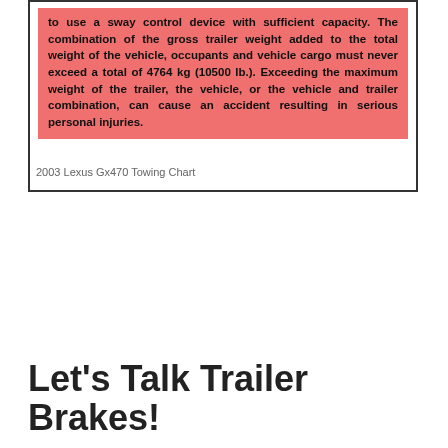to use a sway control device with sufficient capacity. The combination of the gross trailer weight added to the total weight of the vehicle, occupants and vehicle cargo must never exceed a total of 4764 kg (10500 lb.). Exceeding the maximum weight of the trailer, the vehicle, or the vehicle and trailer combination, can cause an accident resulting in serious personal injuries.
2003 Lexus Gx470 Towing Chart
Let's Talk Trailer Brakes!